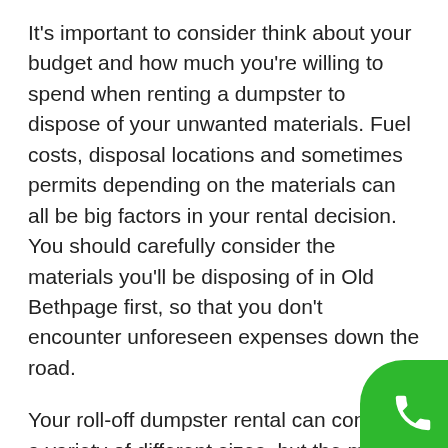It's important to consider think about your budget and how much you're willing to spend when renting a dumpster to dispose of your unwanted materials. Fuel costs, disposal locations and sometimes permits depending on the materials can all be big factors in your rental decision. You should carefully consider the materials you'll be disposing of in Old Bethpage first, so that you don't encounter unforeseen expenses down the road.
Your roll-off dumpster rental can come in a variety of different sizes, but the most common is the 20 cubic yard selection. If you are unsure of the size you need, it's better to overestimate than underestimate, since if you exceed your weight capacity you'll be charged a premium. A 20 cubic yard dumpster will likely cover the majority of cleanup or home improvement jobs in Old B... that you're performing. If you're remodeling...
[Figure (other): Green phone/call button icon in bottom-right corner, circular with white telephone handset icon]